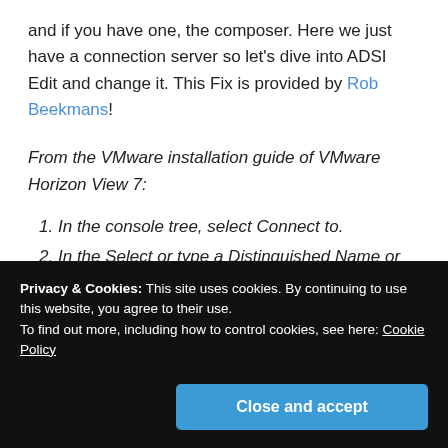and if you have one, the composer. Here we just have a connection server so let's dive into ADSI Edit and change it. This Fix is provided by Rob Beekmans!
From the VMware installation guide of VMware Horizon View 7:
In the console tree, select Connect to.
In the Select or type a Distinguished Name or Naming Context text box, type the distinguished name DC=vdi, DC=vmware, DC=int.
Privacy & Cookies: This site uses cookies. By continuing to use this website, you agree to their use. To find out more, including how to control cookies, see here: Cookie Policy
Close and accept